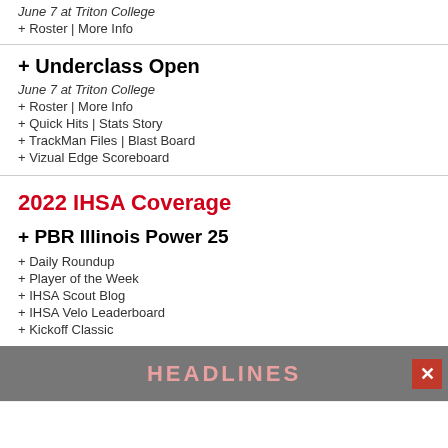June 7 at Triton College
+ Roster | More Info
+ Underclass Open
June 7 at Triton College
+ Roster | More Info
+ Quick Hits | Stats Story
+ TrackMan Files | Blast Board
+ Vizual Edge Scoreboard
2022 IHSA Coverage
+ PBR Illinois Power 25
+ Daily Roundup
+ Player of the Week
+ IHSA Scout Blog
+ IHSA Velo Leaderboard
+ Kickoff Classic
HEADLINES